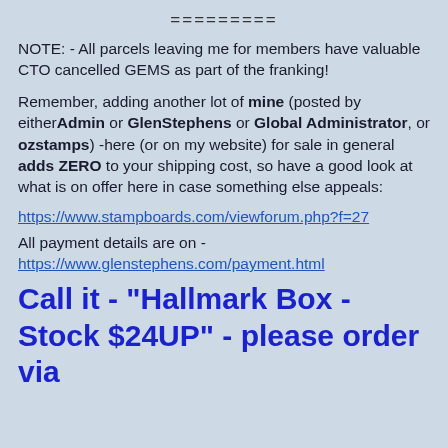=========
NOTE: - All parcels leaving me for members have valuable CTO cancelled GEMS as part of the franking!
Remember, adding another lot of mine (posted by either Admin or GlenStephens or Global Administrator, or ozstamps) -here (or on my website) for sale in general adds ZERO to your shipping cost, so have a good look at what is on offer here in case something else appeals:
https://www.stampboards.com/viewforum.php?f=27
All payment details are on -
https://www.glenstephens.com/payment.html
Call it - "Hallmark Box - Stock $24UP" - please order via